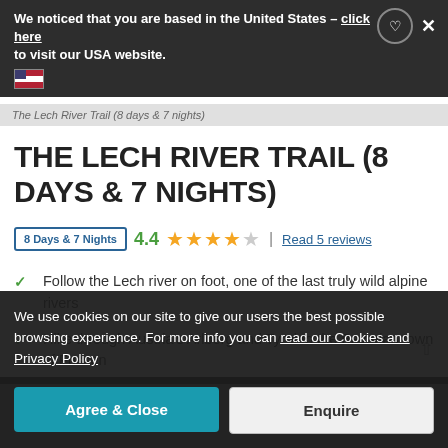We noticed that you are based in the United States - click here to visit our USA website.
The Lech River Trail (8 days & 7 nights)
THE LECH RIVER TRAIL (8 DAYS & 7 NIGHTS)
8 Days & 7 Nights   4.4  ★★★★☆  |  Read 5 reviews
Follow the Lech river on foot, one of the last truly wild alpine rivers
Hike through Austria's Arlberg and Tyrol to the Bavarian town of Fussen
...yroler-Lech Natu...
We use cookies on our site to give our users the best possible browsing experience. For more info you can read our Cookies and Privacy Policy
Agree & Close
Enquire